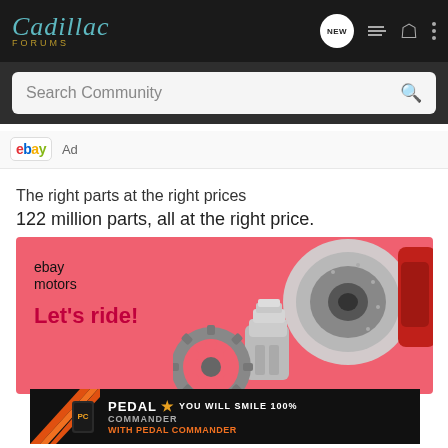Cadillac Forums — navigation bar
Search Community
[Figure (screenshot): eBay Motors ad header row with eBay logo and 'Ad' label]
The right parts at the right prices
122 million parts, all at the right price.
[Figure (illustration): eBay Motors pink banner ad showing 'Let's ride!' with car parts (brake disc, piston, gear) illustration]
[Figure (illustration): Pedal Commander bottom banner ad: 'YOU WILL SMILE 100% WITH PEDAL COMMANDER']